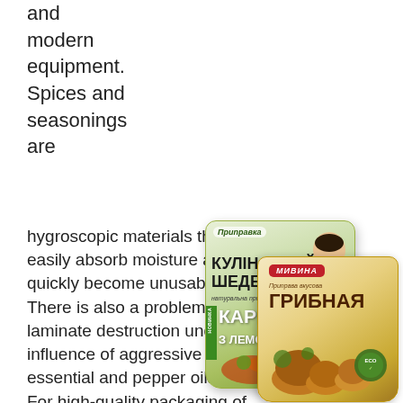and modern equipment. Spices and seasonings are
hygroscopic materials that easily absorb moisture and then quickly become unusable. There is also a problem of laminate destruction under the influence of aggressive essential and pepper oils. For high-quality packaging of such products, it is necessary to use both
[Figure (photo): Two spice packaging products: a green Prypravka 'Kulinarny Shedevr' curry with lemongrass packet, and a golden Mivina 'Gribna' mushroom seasoning packet]